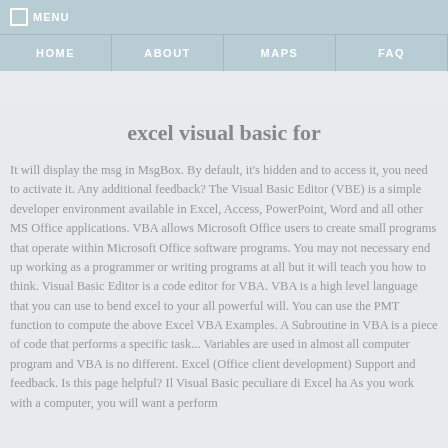MENU
HOME   ABOUT   MAPS   FAQ
excel visual basic for
It will display the msg in MsgBox. By default, it's hidden and to access it, you need to activate it. Any additional feedback? The Visual Basic Editor (VBE) is a simple developer environment available in Excel, Access, PowerPoint, Word and all other MS Office applications. VBA allows Microsoft Office users to create small programs that operate within Microsoft Office software programs. You may not necessary end up working as a programmer or writing programs at all but it will teach you how to think. Visual Basic Editor is a code editor for VBA. VBA is a high level language that you can use to bend excel to your all powerful will. You can use the PMT function to compute the above Excel VBA Examples. A Subroutine in VBA is a piece of code that performs a specific task... Variables are used in almost all computer program and VBA is no different. Excel (Office client development) Support and feedback. Is this page helpful? Il Visual Basic peculiare di Excel ha As you work with a computer, you will want a perform